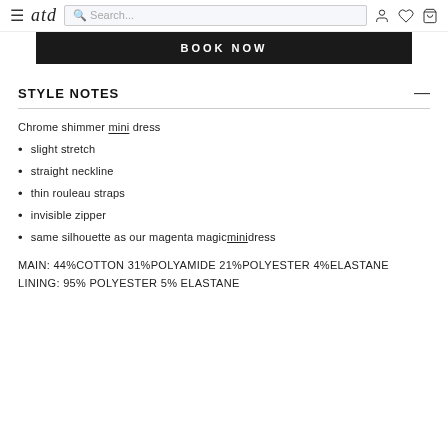atd | Search... [icons: account, wishlist, cart]
[Figure (screenshot): BOOK NOW dark banner button]
STYLE NOTES
Chrome shimmer mini dress
slight stretch
straight neckline
thin rouleau straps
invisible zipper
same silhouette as our magenta magic mini dress
MAIN: 44%COTTON 31%POLYAMIDE 21%POLYESTER 4%ELASTANE
LINING: 95% POLYESTER 5% ELASTANE